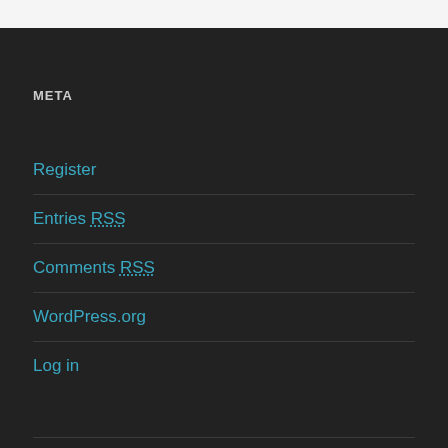META
Register
Entries RSS
Comments RSS
WordPress.org
Log in